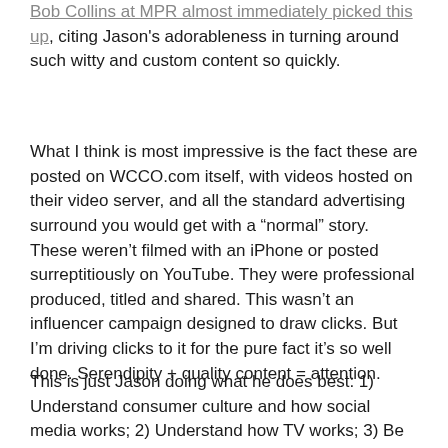Bob Collins at MPR almost immediately picked this up, citing Jason's adorableness in turning around such witty and custom content so quickly.
What I think is most impressive is the fact these are posted on WCCO.com itself, with videos hosted on their video server, and all the standard advertising surround you would get with a "normal" story. These weren't filmed with an iPhone or posted surreptitiously on YouTube. They were professional produced, titled and shared. This wasn't an influencer campaign designed to draw clicks. But I'm driving clicks to it for the pure fact it's so well done. Serendipity + quality content = attention.
This is just Jason doing what he does best: 1) Understand consumer culture and how social media works; 2) Understand how TV works; 3) Be clever; and 4) Knit those three together.